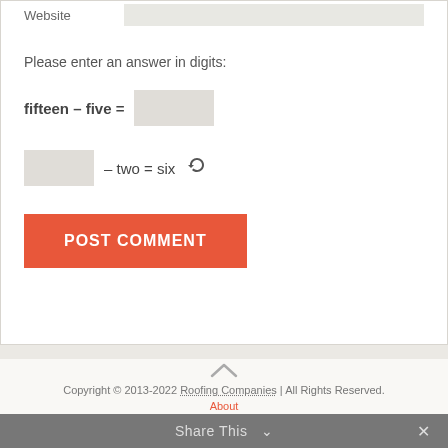Website
Please enter an answer in digits:
POST COMMENT
Copyright © 2013-2022 Roofing Companies | All Rights Reserved.
About
Share This ×